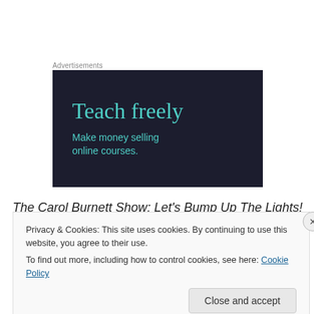Advertisements
[Figure (illustration): Dark navy advertisement box with teal text reading 'Teach freely' as headline and 'Make money selling online courses.' as subtext]
The Carol Burnett Show: Let's Bump Up The Lights!
Privacy & Cookies: This site uses cookies. By continuing to use this website, you agree to their use.
To find out more, including how to control cookies, see here: Cookie Policy
Close and accept